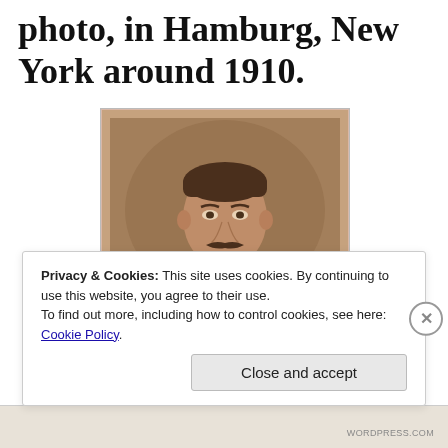photo, in Hamburg, New York around 1910.
[Figure (photo): Sepia-toned portrait photograph of a young man with a mustache, wearing a suit with a tie, circa 1910, Hamburg, New York.]
Privacy & Cookies: This site uses cookies. By continuing to use this website, you agree to their use.
To find out more, including how to control cookies, see here: Cookie Policy
Close and accept